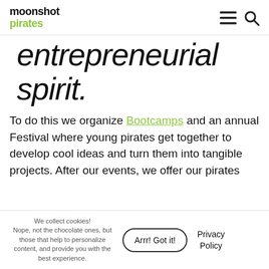moonshot pirates
entrepreneurial spirit.
To do this we organize Bootcamps and an annual Festival where young pirates get together to develop cool ideas and turn them into tangible projects. After our events, we offer our pirates
We collect cookies! Nope, not the chocolate ones, but those that help to personalize content, and provide you with the best experience.
Arrr! Got it!
Privacy Policy